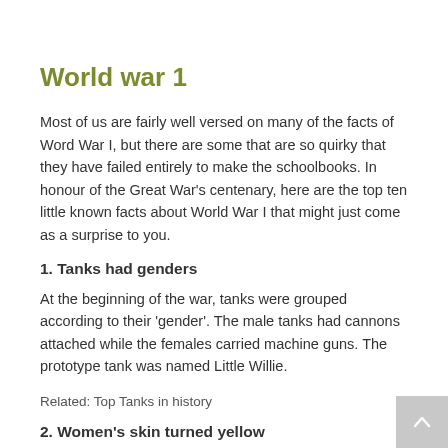World war 1
Most of us are fairly well versed on many of the facts of Word War I, but there are some that are so quirky that they have failed entirely to make the schoolbooks. In honour of the Great War's centenary, here are the top ten little known facts about World War I that might just come as a surprise to you.
1. Tanks had genders
At the beginning of the war, tanks were grouped according to their 'gender'. The male tanks had cannons attached while the females carried machine guns. The prototype tank was named Little Willie.
Related: Top Tanks in history
2. Women's skin turned yellow
WWI saw many women join the working forces. Those who worked with TNT saw their skin turn yellow as a result to the